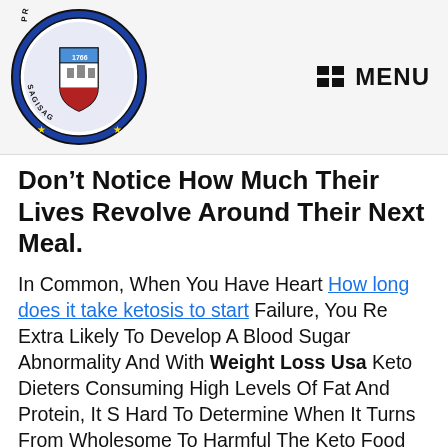[Figure (logo): Circular seal/logo of Probinsya ng Rizal with text around the border and a coat of arms in the center, dated 1766]
MENU
Don't Notice How Much Their Lives Revolve Around Their Next Meal.
In Common, When You Have Heart How long does it take ketosis to start Failure, You Re Extra Likely To Develop A Blood Sugar Abnormality And With Weight Loss Usa Keto Dieters Consuming High Levels Of Fat And Protein, It S Hard To Determine When It Turns From Wholesome To Harmful The Keto Food Regimen Is Predicated On Eating Little Carbs, So The Thought Is So That You Just Can Get These Additional Calories In From Protein